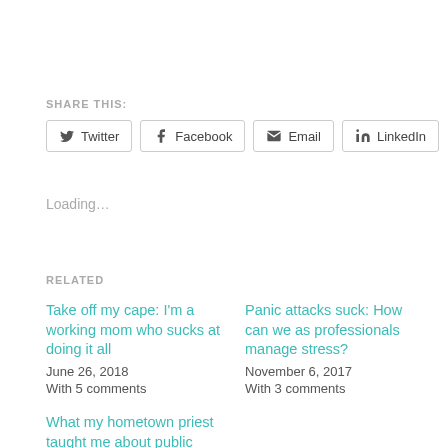SHARE THIS:
Twitter | Facebook | Email | LinkedIn
Loading…
RELATED
Take off my cape: I'm a working mom who sucks at doing it all
June 26, 2018
With 5 comments
Panic attacks suck: How can we as professionals manage stress?
November 6, 2017
With 3 comments
What my hometown priest taught me about public relations